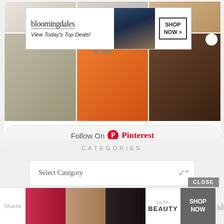[Figure (screenshot): Pinterest widget showing a grid of pinned images including home decor, food, a portrait, a pumpkin, and a steak photo. An advertisement banner for Bloomingdale's overlays the top portion with text 'View Today's Top Deals!' and a 'SHOP NOW >' button. A 'Topiary for less' text overlay appears on the middle image.]
Follow On Pinterest
CATEGORIES
Select Category
[Figure (screenshot): Bottom advertisement bar for ULTA Beauty showing close-up beauty/makeup images and a 'SHOP NOW' button. A 'CLOSE' button appears above it. 'Shares' label on the left, crown icon on the right.]